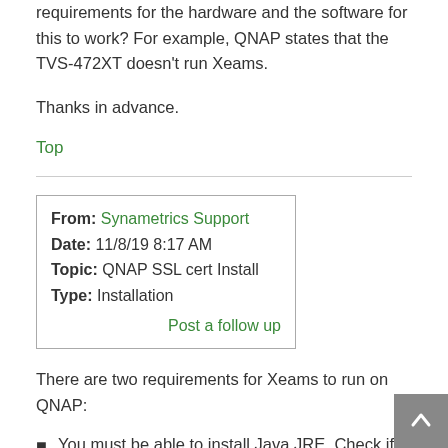requirements for the hardware and the software for this to work? For example, QNAP states that the TVS-472XT doesn't run Xeams.
Thanks in advance.
Top
| From: | Synametrics Support |
| Date: | 11/8/19 8:17 AM |
| Topic: | QNAP SSL cert Install |
| Type: | Installation |
|  | Post a follow up |
There are two requirements for Xeams to run on QNAP:
You must be able to install Java JRE. Check if your QNAP model allow you to install JRE 8 through the App Center.
You should have an Intel CPU. ARM CPUs are not very